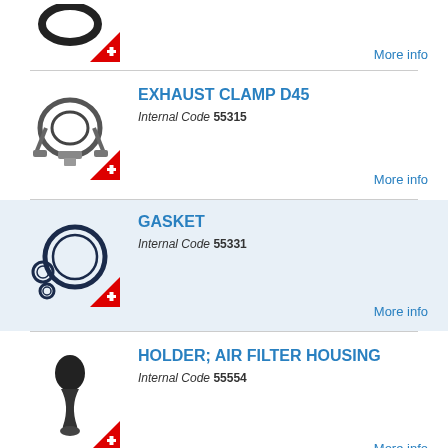[Figure (photo): Partial view of a rubber O-ring seal with Swiss plus badge]
More info
[Figure (photo): Exhaust clamp D45 metal part with Swiss plus badge]
EXHAUST CLAMP D45
Internal Code 55315
More info
[Figure (photo): Gasket rubber rings set with Swiss plus badge]
GASKET
Internal Code 55331
More info
[Figure (photo): Holder air filter housing part with Swiss plus badge]
HOLDER; AIR FILTER HOUSING
Internal Code 55554
More info
[Figure (photo): Partial view of thermostat part]
THERMOSTAT